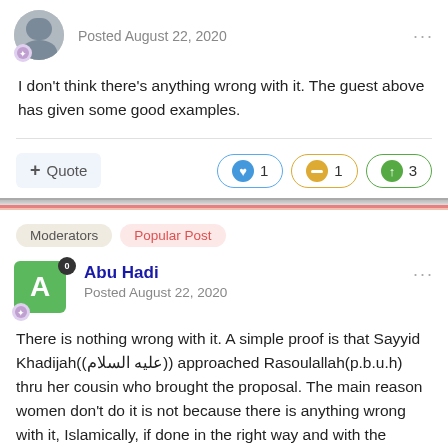Posted August 22, 2020
I don't think there's anything wrong with it. The guest above has given some good examples.
Quote  1  1  3
Moderators   Popular Post
Abu Hadi
Posted August 22, 2020
There is nothing wrong with it. A simple proof is that Sayyid Khadijah((عليه السلام)) approached Rasoulallah(p.b.u.h) thru her cousin who brought the proposal. The main reason women don't do it is not because there is anything wrong with it, Islamically, if done in the right way and with the proper intention. They don't do it because they are afraid of rejection. Most brothers I know, including myself, have been